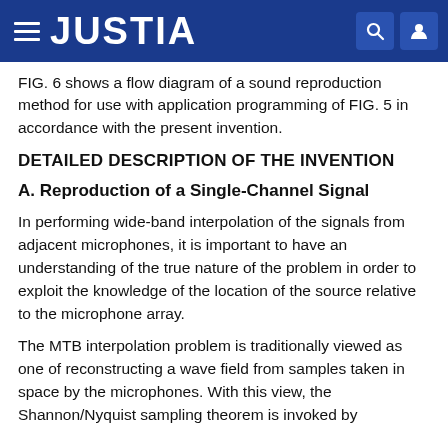JUSTIA
FIG. 6 shows a flow diagram of a sound reproduction method for use with application programming of FIG. 5 in accordance with the present invention.
DETAILED DESCRIPTION OF THE INVENTION
A. Reproduction of a Single-Channel Signal
In performing wide-band interpolation of the signals from adjacent microphones, it is important to have an understanding of the true nature of the problem in order to exploit the knowledge of the location of the source relative to the microphone array.
The MTB interpolation problem is traditionally viewed as one of reconstructing a wave field from samples taken in space by the microphones. With this view, the Shannon/Nyquist sampling theorem is invoked by